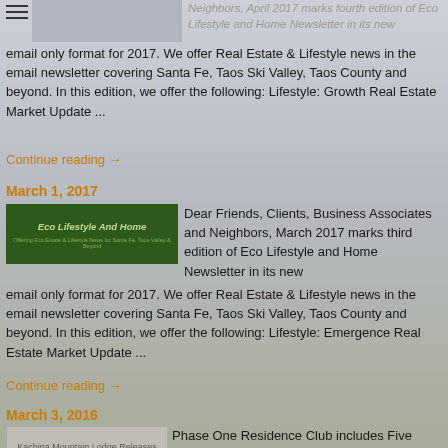Neighbors, April 2017 marks fourth edition of Eco Lifestyle and Home Newsletter in its new email only format for 2017. We offer Real Estate & Lifestyle news in the email newsletter covering Santa Fe, Taos Ski Valley, Taos County and beyond. In this edition, we offer the following: Lifestyle: Growth Real Estate Market Update ...
Continue reading →
March 1, 2017
[Figure (logo): Eco Lifestyle And Home logo - dark green background with italic text]
Dear Friends, Clients, Business Associates and Neighbors, March 2017 marks third edition of Eco Lifestyle and Home Newsletter in its new email only format for 2017. We offer Real Estate & Lifestyle news in the email newsletter covering Santa Fe, Taos Ski Valley, Taos County and beyond. In this edition, we offer the following: Lifestyle: Emergence Real Estate Market Update ...
Continue reading →
March 3, 2016
[Figure (photo): Kachina Mountain Lodge Releases First Phase - photo thumbnail]
Phase One Residence Club includes Five Eco-Home Sites:  Only 5 single family home sites are available in Phase One, offered by Kachina Mountain Lodge (KML) and our alpine eco-community planning partner GaiaQuest. Each homesite includes GaiaQuest's exclusive Alpine Wilderness Residence Club Membership opportunity,  offering the best alpine wilderness resort lifestyle opportunity available anywhere. For a limited time, Phase 1 homesites are ...